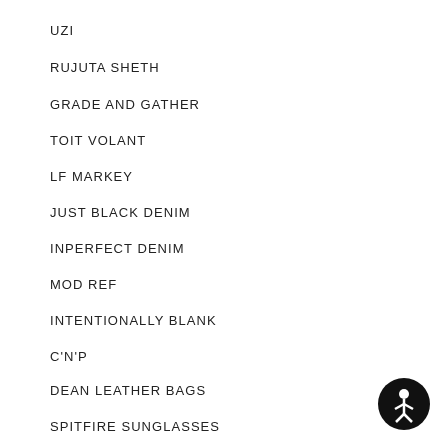UZI
RUJUTA SHETH
GRADE AND GATHER
TOIT VOLANT
LF MARKEY
JUST BLACK DENIM
INPERFECT DENIM
MOD REF
INTENTIONALLY BLANK
C'N'P
DEAN LEATHER BAGS
SPITFIRE SUNGLASSES
[Figure (illustration): Accessibility/PageAssist icon button - black circle with white human figure icon]